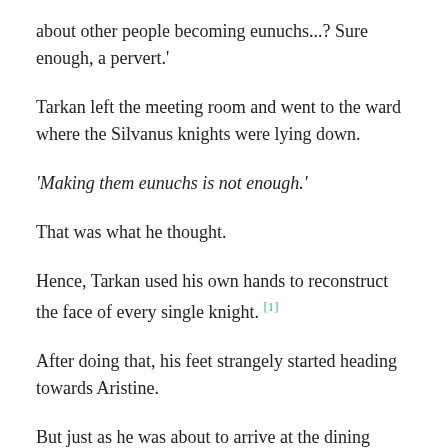about other people becoming eunuchs...? Sure enough, a pervert.'
Tarkan left the meeting room and went to the ward where the Silvanus knights were lying down.
'Making them eunuchs is not enough.'
That was what he thought.
Hence, Tarkan used his own hands to reconstruct the face of every single knight. [1]
After doing that, his feet strangely started heading towards Aristine.
But just as he was about to arrive at the dining room,